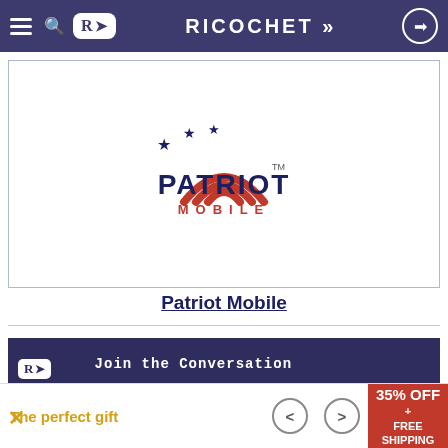RICOCHET
[Figure (logo): Patriot Mobile logo with stars and wifi signal arcs in red, white and blue, with PATRIOT in dark navy bold text and MOBILE in red spaced text below]
Patriot Mobile
[Figure (infographic): Ricochet banner advertisement: Join the Conversation - Comment and Write Your Own Posts - RICOCHET.COM - Only $5 a month]
Now become a Ricochet member for only $5.00 a
[Figure (infographic): Bottom advertisement bar: The perfect gift, with navigation arrows and 35% OFF + FREE SHIPPING badge in red]